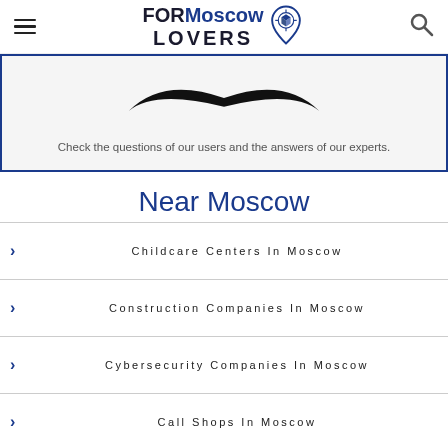FORMoscow LOVERS
[Figure (illustration): Partial mustache/smile illustration in black on light grey background, inside a blue-bordered box]
Check the questions of our users and the answers of our experts.
Near Moscow
Childcare Centers In Moscow
Construction Companies In Moscow
Cybersecurity Companies In Moscow
Call Shops In Moscow